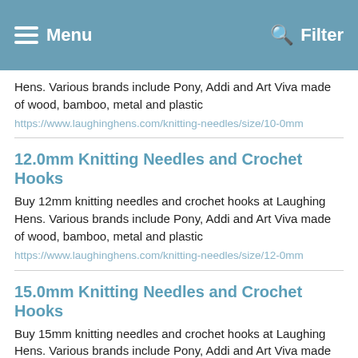Menu   Filter
Hens. Various brands include Pony, Addi and Art Viva made of wood, bamboo, metal and plastic
https://www.laughinghens.com/knitting-needles/size/10-0mm
12.0mm Knitting Needles and Crochet Hooks
Buy 12mm knitting needles and crochet hooks at Laughing Hens. Various brands include Pony, Addi and Art Viva made of wood, bamboo, metal and plastic
https://www.laughinghens.com/knitting-needles/size/12-0mm
15.0mm Knitting Needles and Crochet Hooks
Buy 15mm knitting needles and crochet hooks at Laughing Hens. Various brands include Pony, Addi and Art Viva made of wood, bamboo, metal and plastic
https://www.laughinghens.com/knitting-needles/size/15-0mm